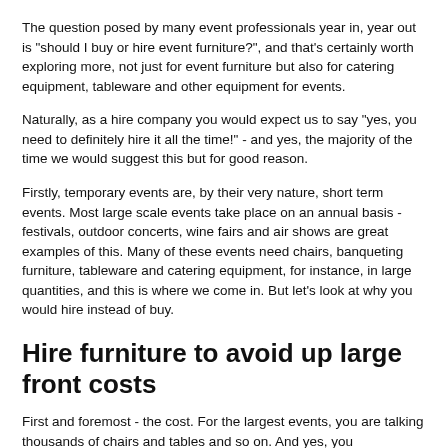The question posed by many event professionals year in, year out is "should I buy or hire event furniture?", and that's certainly worth exploring more, not just for event furniture but also for catering equipment, tableware and other equipment for events.
Naturally, as a hire company you would expect us to say "yes, you need to definitely hire it all the time!" - and yes, the majority of the time we would suggest this but for good reason.
Firstly, temporary events are, by their very nature, short term events. Most large scale events take place on an annual basis - festivals, outdoor concerts, wine fairs and air shows are great examples of this. Many of these events need chairs, banqueting furniture, tableware and catering equipment, for instance, in large quantities, and this is where we come in. But let's look at why you would hire instead of buy.
Hire furniture to avoid up large front costs
First and foremost - the cost. For the largest events, you are talking thousands of chairs and tables and so on. And yes, you